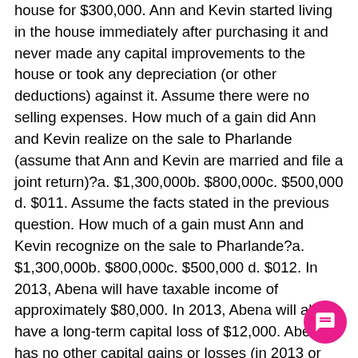house for $300,000. Ann and Kevin started living in the house immediately after purchasing it and never made any capital improvements to the house or took any depreciation (or other deductions) against it. Assume there were no selling expenses. How much of a gain did Ann and Kevin realize on the sale to Pharlande (assume that Ann and Kevin are married and file a joint return)?a. $1,300,000b. $800,000c. $500,000 d. $011. Assume the facts stated in the previous question. How much of a gain must Ann and Kevin recognize on the sale to Pharlande?a. $1,300,000b. $800,000c. $500,000 d. $012. In 2013, Abena will have taxable income of approximately $80,000. In 2013, Abena will also have a long-term capital loss of $12,000. Abena has no other capital gains or losses (in 2013 or prior years). For 2013, what is the maximum capital loss amount that Abena may use to offset her other income?a. $0b. $3,000c. $9,000d. $12,00013. Assume the facts stated in the previous question. Assume further that for 2013 Abena offset her